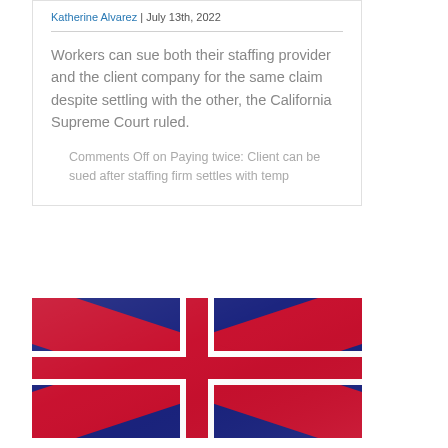Katherine Alvarez | July 13th, 2022
Workers can sue both their staffing provider and the client company for the same claim despite settling with the other, the California Supreme Court ruled.
Comments Off on Paying twice: Client can be sued after staffing firm settles with temp
[Figure (photo): Union Jack / UK flag photograph, draped fabric texture with red, white, and blue colours]